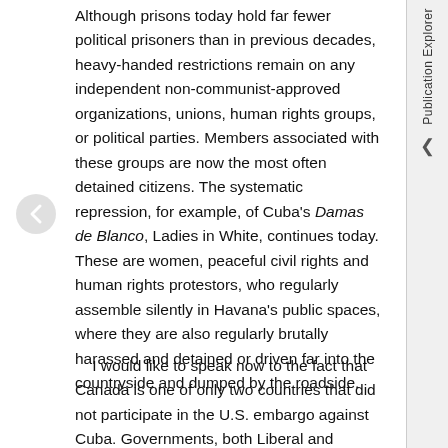Although prisons today hold far fewer political prisoners than in previous decades, heavy-handed restrictions remain on any independent non-communist-approved organizations, unions, human rights groups, or political parties. Members associated with these groups are now the most often detained citizens. The systematic repression, for example, of Cuba's Damas de Blanco, Ladies in White, continues today. These are women, peaceful civil rights and human rights protestors, who regularly assemble silently in Havana's public spaces, where they are also regularly brutally harassed and detained or driven far into the countryside and dumped by the roadside.
I would like to speak now to the fact that Canada is one of only two countries that did not participate in the U.S. embargo against Cuba. Governments, both Liberal and